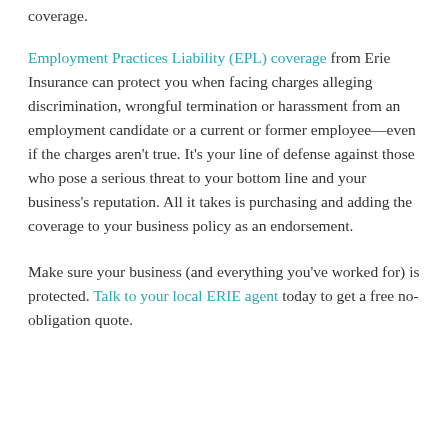coverage.
Employment Practices Liability (EPL) coverage from Erie Insurance can protect you when facing charges alleging discrimination, wrongful termination or harassment from an employment candidate or a current or former employee—even if the charges aren't true. It's your line of defense against those who pose a serious threat to your bottom line and your business's reputation. All it takes is purchasing and adding the coverage to your business policy as an endorsement.
Make sure your business (and everything you've worked for) is protected. Talk to your local ERIE agent today to get a free no-obligation quote.